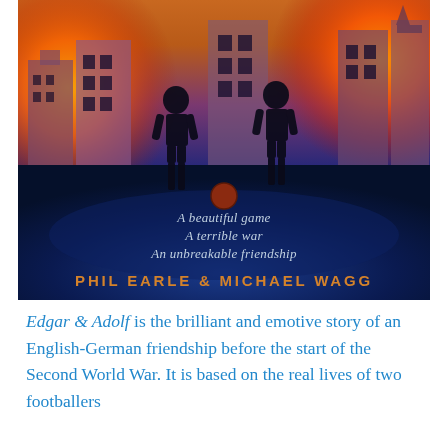[Figure (illustration): Book cover of 'Edgar & Adolf' by Phil Earle & Michael Wagg. Shows two silhouetted boys standing facing each other with a football between them, against a backdrop of burning buildings in a war-torn city with orange and red fire. The lower portion shows a dark blue ground with an elliptical circle. Text on cover reads: 'A beautiful game / A terrible war / An unbreakable friendship' and author names 'PHIL EARLE & MICHAEL WAGG' in orange.]
Edgar & Adolf is the brilliant and emotive story of an English-German friendship before the start of the Second World War. It is based on the real lives of two footballers